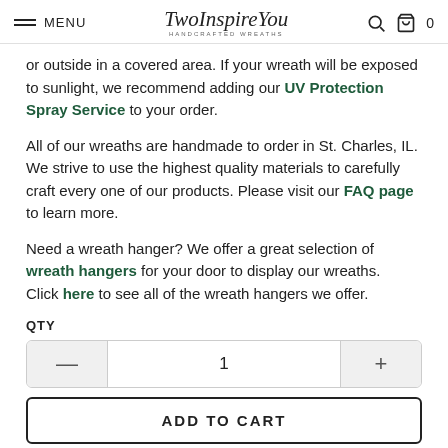MENU | TwoInspireYou | [search icon] [cart icon] 0
or outside in a covered area. If your wreath will be exposed to sunlight, we recommend adding our UV Protection Spray Service to your order.
All of our wreaths are handmade to order in St. Charles, IL. We strive to use the highest quality materials to carefully craft every one of our products. Please visit our FAQ page to learn more.
Need a wreath hanger? We offer a great selection of wreath hangers for your door to display our wreaths. Click here to see all of the wreath hangers we offer.
QTY
1
ADD TO CART